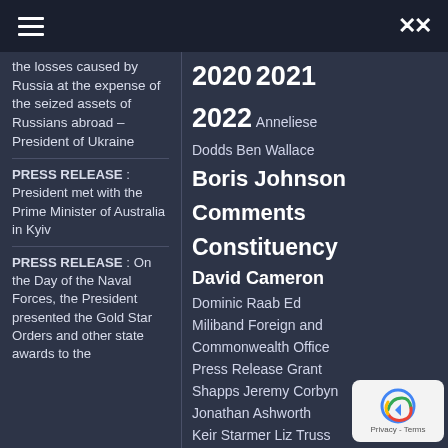Navigation bar with hamburger menu and shuffle icon
the losses caused by Russia at the expense of the seized assets of Russians abroad – President of Ukraine
PRESS RELEASE : President met with the Prime Minister of Australia in Kyiv
PRESS RELEASE : On the Day of the Naval Forces, the President presented the Gold Star Orders and other state awards to the
2020 2021 2022 Anneliese Dodds Ben Wallace Boris Johnson Comments Constituency David Cameron Dominic Raab Ed Miliband Foreign and Commonwealth Office Press Release Grant Shapps Jeremy Corbyn Jonathan Ashworth Keir Starmer Liz Truss Maiden Speech Matt Hancock Michael Gove Nick Thomas-Symonds Press Release Priti